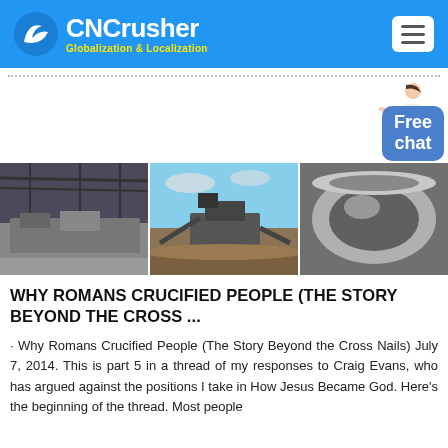CNCrusher Globalization & Localization
[Figure (screenshot): Three industrial crusher/mining equipment photos side by side]
WHY ROMANS CRUCIFIED PEOPLE (THE STORY BEYOND THE CROSS ...
· Why Romans Crucified People (The Story Beyond the Cross Nails) July 7, 2014. This is part 5 in a thread of my responses to Craig Evans, who has argued against the positions I take in How Jesus Became God. Here's the beginning of the thread. Most people